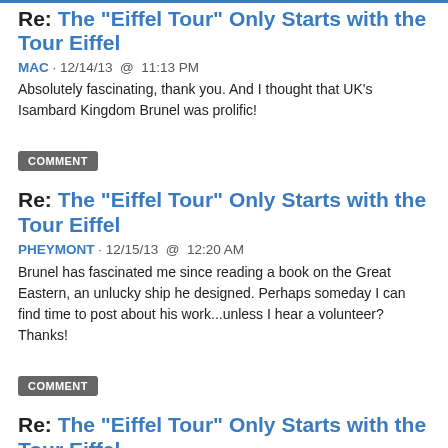Re: The "Eiffel Tour" Only Starts with the Tour Eiffel
MAC · 12/14/13 @ 11:13 PM
Absolutely fascinating, thank you. And I thought that UK's Isambard Kingdom Brunel was prolific!
COMMENT
Re: The "Eiffel Tour" Only Starts with the Tour Eiffel
PHEYMONT · 12/15/13 @ 12:20 AM
Brunel has fascinated me since reading a book on the Great Eastern, an unlucky ship he designed. Perhaps someday I can find time to post about his work...unless I hear a volunteer? Thanks!
COMMENT
Re: The "Eiffel Tour" Only Starts with the Tour Eiffel
PORTMORESBY · 12/15/13 @ 12:58 AM
I'm personally acquainted with one of Brunel's railway bridges, the Gatehampton Bridge over the Thames in Berkshire, England. I was advised by my Thames Path guidebook that I was approaching it. There was a strategically placed bench in a meadow where I sat, had a snack and looked at it from a distance for a bit before walking under it. Not at